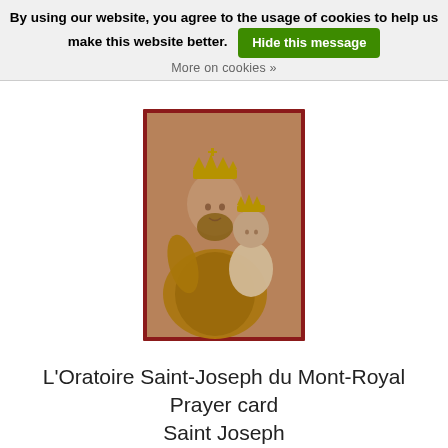By using our website, you agree to the usage of cookies to help us make this website better. Hide this message More on cookies »
[Figure (illustration): Religious statue illustration showing Saint Joseph wearing a crown and holding the Christ Child, also crowned. Dark reddish-brown border frame. The figures appear as gilded/painted statues.]
L'Oratoire Saint-Joseph du Mont-Royal Prayer card Saint Joseph